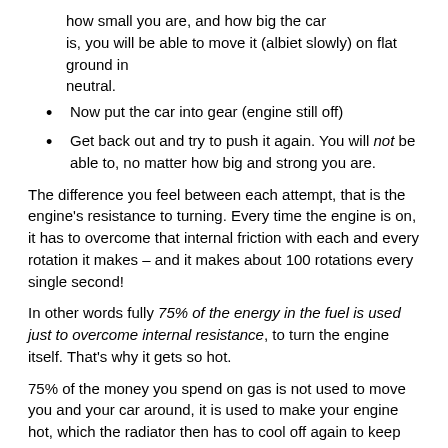how small you are, and how big the car is, you will be able to move it (albiet slowly) on flat ground in neutral.
Now put the car into gear (engine still off)
Get back out and try to push it again. You will not be able to, no matter how big and strong you are.
The difference you feel between each attempt, that is the engine's resistance to turning. Every time the engine is on, it has to overcome that internal friction with each and every rotation it makes – and it makes about 100 rotations every single second!
In other words fully 75% of the energy in the fuel is used just to overcome internal resistance, to turn the engine itself. That's why it gets so hot.
75% of the money you spend on gas is not used to move you and your car around, it is used to make your engine hot, which the radiator then has to cool off again to keep from damaging it.
On top of that, belt driven engine accessories and drivetrain losses